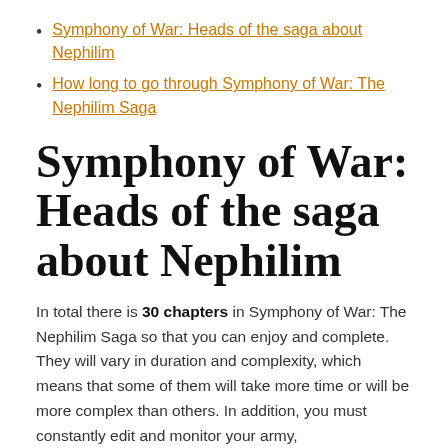Symphony of War: Heads of the saga about Nephilim
How long to go through Symphony of War: The Nephilim Saga
Symphony of War: Heads of the saga about Nephilim
In total there is 30 chapters in Symphony of War: The Nephilim Saga so that you can enjoy and complete. They will vary in duration and complexity, which means that some of them will take more time or will be more complex than others. In addition, you must constantly edit and monitor your army,